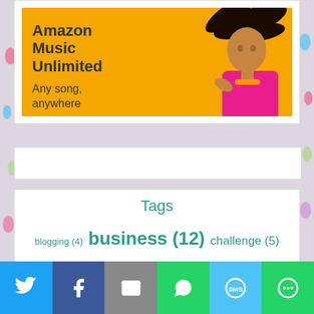[Figure (illustration): Amazon Music Unlimited advertisement banner with yellow/orange background, bold dark text reading 'Amazon Music Unlimited' and 'Any song, anywhere', with a woman in a pink outfit with flowing hair on the right side.]
[Figure (other): Empty white search/input bar with light border]
Tags
blogging (4) business (12) challenge (5) clients (13) creative (8) customer
[Figure (other): Social sharing bottom bar with Twitter, Facebook, Email, WhatsApp, SMS, and More buttons]